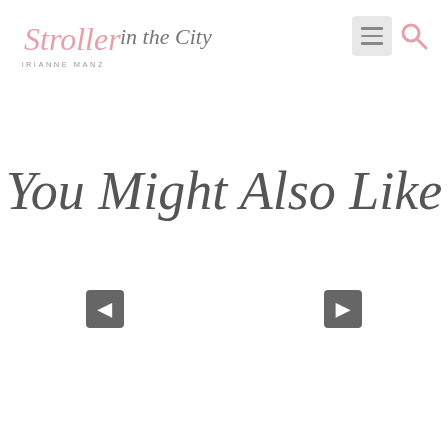Stroller in the City by Brianne Manz
You Might Also Like